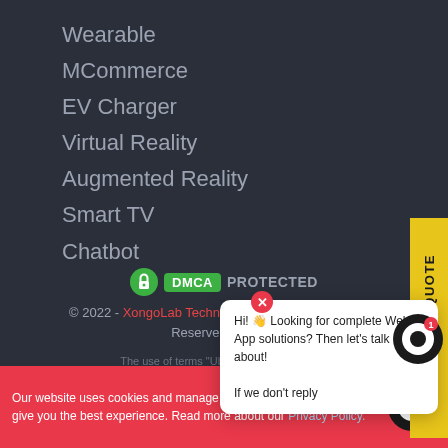Wearable
MCommerce
EV Charger
Virtual Reality
Augmented Reality
Smart TV
Chatbot
[Figure (logo): DMCA Protected badge with green lock icon]
© 2022 - XongoLab Technologies LLP All Rights Reserved
The use of terms “Uber” and “Gojek” is p...
[Figure (screenshot): Chat bubble: Hi! Looking for complete Web or App solutions? Then let's talk about! If we don't reply]
REQUEST A QUOTE
Our website uses cookies and manage some personal information to give you the best experience. Read more about our Privacy Policy.